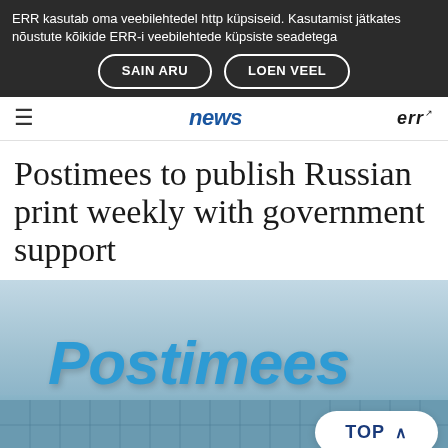ERR kasutab oma veebilehtedel http küpsiseid. Kasutamist jätkates nõustute kõikide ERR-i veebilehtede küpsiste seadetega
SAIN ARU
LOEN VEEL
news  ERR
Postimees to publish Russian print weekly with government support
[Figure (photo): Exterior photo of the Postimees building with large blue Postimees sign visible on the roofline, glass facade building in background with grey/blue sky]
TOP ^